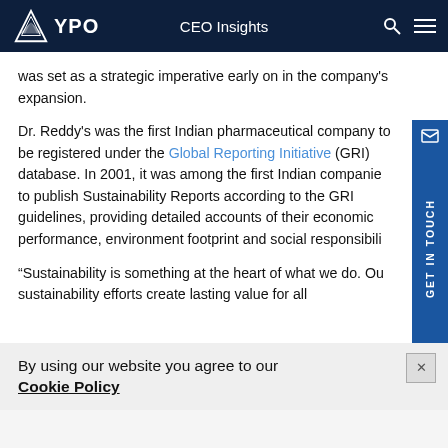YPO — CEO Insights
was set as a strategic imperative early on in the company's expansion.
Dr. Reddy's was the first Indian pharmaceutical company to be registered under the Global Reporting Initiative (GRI) database. In 2001, it was among the first Indian companies to publish Sustainability Reports according to the GRI guidelines, providing detailed accounts of their economic performance, environment footprint and social responsibility.
“Sustainability is something at the heart of what we do. Our sustainability efforts create lasting value for all
By using our website you agree to our Cookie Policy